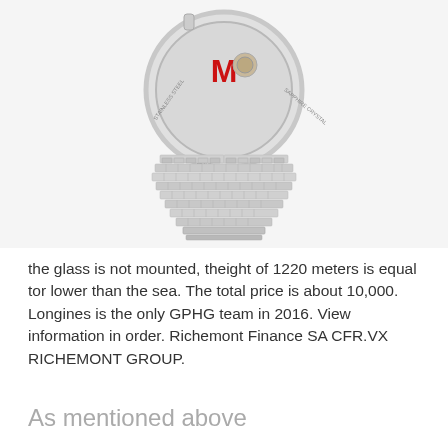[Figure (photo): Back view of a stainless steel wristwatch with a metallic bracelet. The watch caseback shows an M logo in red, with text reading STAINLESS STEEL, SAPPHIRE CRYSTAL, WATER RESISTANT, SWISS MADE around the edge.]
the glass is not mounted, theight of 1220 meters is equal tor lower than the sea. The total price is about 10,000. Longines is the only GPHG team in 2016. View information in order. Richemont Finance SA CFR.VX RICHEMONT GROUP.
As mentioned above